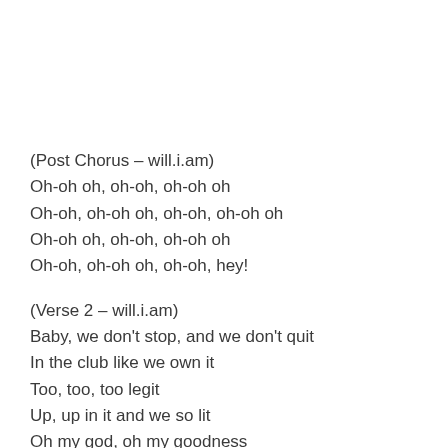(Post Chorus – will.i.am)
Oh-oh oh, oh-oh, oh-oh oh
Oh-oh, oh-oh oh, oh-oh, oh-oh oh
Oh-oh oh, oh-oh, oh-oh oh
Oh-oh, oh-oh oh, oh-oh, hey!
(Verse 2 – will.i.am)
Baby, we don't stop, and we don't quit
In the club like we own it
Too, too, too legit
Up, up in it and we so lit
Oh my god, oh my goodness